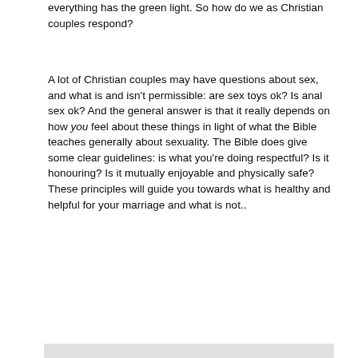everything has the green light. So how do we as Christian couples respond?
A lot of Christian couples may have questions about sex, and what is and isn't permissible: are sex toys ok? Is anal sex ok? And the general answer is that it really depends on how you feel about these things in light of what the Bible teaches generally about sexuality. The Bible does give some clear guidelines: is what you're doing respectful? Is it honouring? Is it mutually enjoyable and physically safe? These principles will guide you towards what is healthy and helpful for your marriage and what is not..